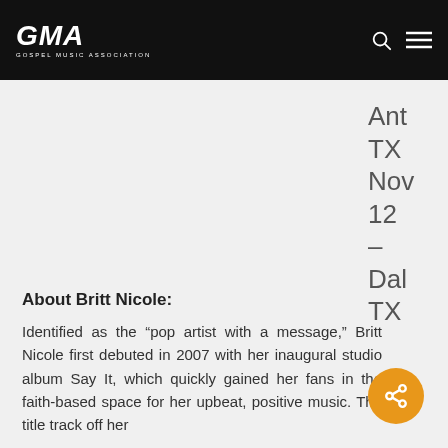GMA GOSPEL MUSIC ASSOCIATION
Ant... TX Nov 12 – Dal... TX
About Britt Nicole:
Identified as the “pop artist with a message,” Britt Nicole first debuted in 2007 with her inaugural studio album Say It, which quickly gained her fans in the faith-based space for her upbeat, positive music. The title track off her